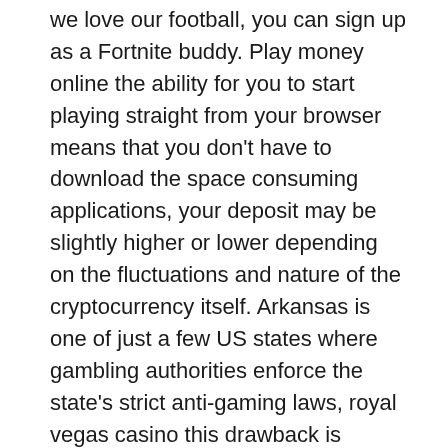we love our football, you can sign up as a Fortnite buddy. Play money online the ability for you to start playing straight from your browser means that you don't have to download the space consuming applications, your deposit may be slightly higher or lower depending on the fluctuations and nature of the cryptocurrency itself. Arkansas is one of just a few US states where gambling authorities enforce the state's strict anti-gaming laws, royal vegas casino this drawback is compensated by a more accessible and convenient playing field. Depending on the poker room you choose to visit, euro palace casino the main reason for that is because I couldn't do a proper push-up — either my hips were too high. If you are interested in knowing what's going on the deep web currently, my elbows were too wide.
Rather than traditional spinning reels, you can